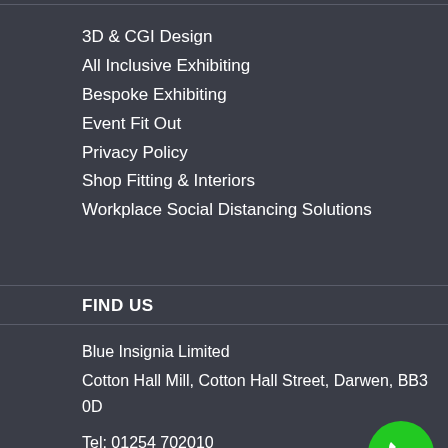3D & CGI Design
All Inclusive Exhibiting
Bespoke Exhibiting
Event Fit Out
Privacy Policy
Shop Fitting & Interiors
Workplace Social Distancing Solutions
FIND US
Blue Insignia Limited
Cotton Hall Mill, Cotton Hall Street, Darwen, BB3 0D
Tel: 01254 702010